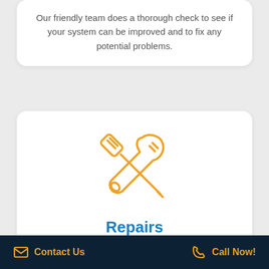Our friendly team does a thorough check to see if your system can be improved and to fix any potential problems.
[Figure (illustration): Orange line-art icon of crossed screwdriver and wrench tools]
Repairs
ICE has decades of experience making systems live longer so you can rely on us to save you money with lasting repairs.
Contact Us   Call Now!